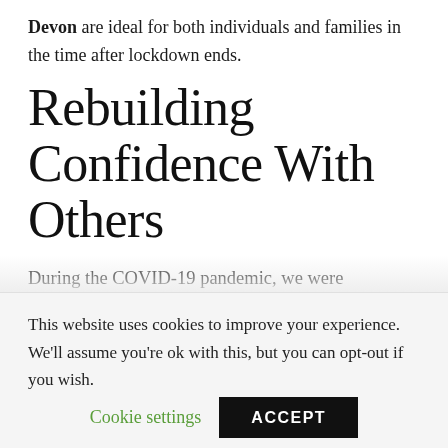Devon are ideal for both individuals and families in the time after lockdown ends.
Rebuilding Confidence With Others
During the COVID-19 pandemic, we were encouraged to keep our socialisation to a minimum, often limited to interactions with parents and carers. While many of us were able to chat with friends via
This website uses cookies to improve your experience. We'll assume you're ok with this, but you can opt-out if you wish.
Cookie settings   ACCEPT